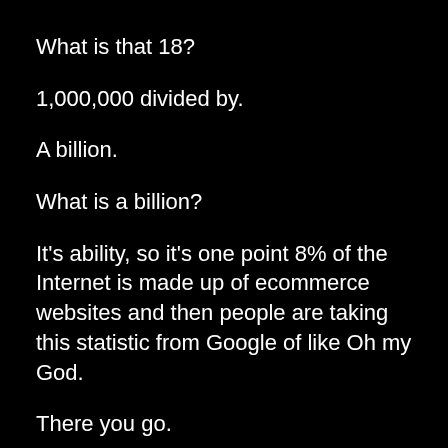What is that 18?
1,000,000 divided by.
A billion.
What is a billion?
It's ability, so it's one point 8% of the Internet is made up of ecommerce websites and then people are taking this statistic from Google of like Oh my God.
There you go.
That means my conversion rate for every second of site speed that I have. That means my conversion rate is 27% less, which is just like, not that that, you can see it's...